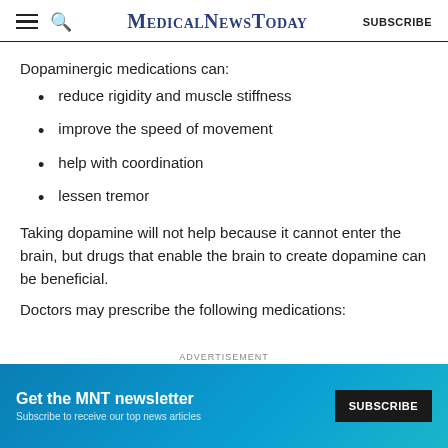MedicalNewsToday  SUBSCRIBE
Dopaminergic medications can:
reduce rigidity and muscle stiffness
improve the speed of movement
help with coordination
lessen tremor
Taking dopamine will not help because it cannot enter the brain, but drugs that enable the brain to create dopamine can be beneficial.
Doctors may prescribe the following medications:
[Figure (other): Advertisement banner for MNT newsletter with Subscribe button. Text: 'Get the MNT newsletter. Subscribe to receive our top news articles.' with a SUBSCRIBE button.]